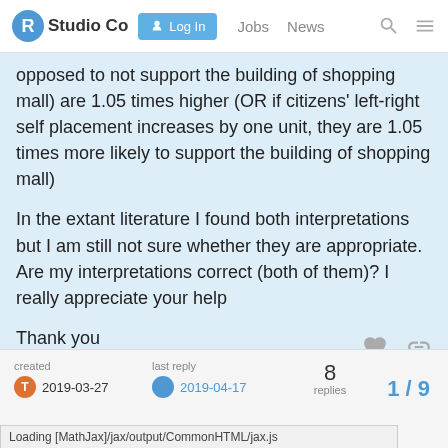RStudio Co  Log In  Jobs  News
opposed to not support the building of shopping mall) are 1.05 times higher (OR if citizens' left-right self placement increases by one unit, they are 1.05 times more likely to support the building of shopping mall)
In the extant literature I found both interpretations but I am still not sure whether they are appropriate. Are my interpretations correct (both of them)? I really appreciate your help
Thank you
created T 2019-03-27  last reply 2019-04-17  8 replies  1/9